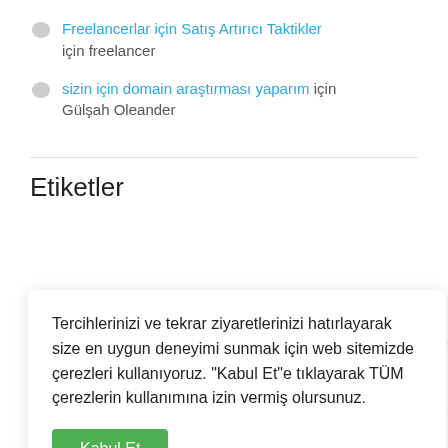Freelancerlar için Satış Artırıcı Taktikler için freelancer
sizin için domain araştırması yaparım için Gülşah Oleander
Etiketler
Tercihlerinizi ve tekrar ziyaretlerinizi hatırlayarak size en uygun deneyimi sunmak için web sitemizde çerezleri kullanıyoruz. "Kabul Et"e tıklayarak TÜM çerezlerin kullanımına izin vermiş olursunuz.
Kabul Et